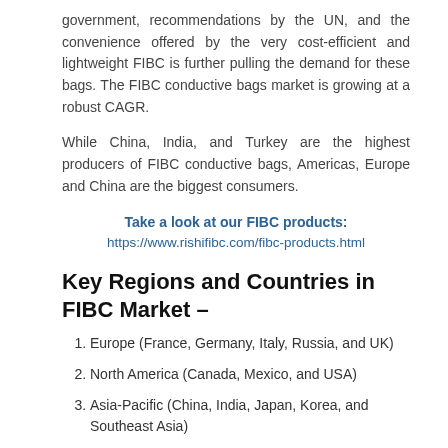government, recommendations by the UN, and the convenience offered by the very cost-efficient and lightweight FIBC is further pulling the demand for these bags. The FIBC conductive bags market is growing at a robust CAGR.
While China, India, and Turkey are the highest producers of FIBC conductive bags, Americas, Europe and China are the biggest consumers.
Take a look at our FIBC products:
https://www.rishifibc.com/fibc-products.html
Key Regions and Countries in FIBC Market –
Europe (France, Germany, Italy, Russia, and UK)
North America (Canada, Mexico, and USA)
Asia-Pacific (China, India, Japan, Korea, and Southeast Asia)
South America (Argentina, Brazil, Columbia etc.)
The Middle East and Africa (Egypt, Saudi Arabia, UAE,